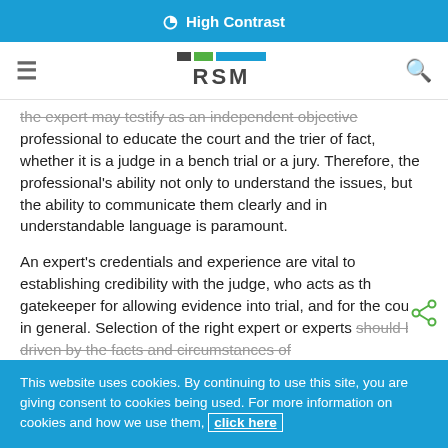High Contrast
[Figure (logo): RSM logo with colored bars (dark, green, blue) above RSM text]
the expert may testify as an independent objective professional to educate the court and the trier of fact, whether it is a judge in a bench trial or a jury. Therefore, the professional's ability not only to understand the issues, but the ability to communicate them clearly and in understandable language is paramount.
An expert's credentials and experience are vital to establishing credibility with the judge, who acts as the gatekeeper for allowing evidence into trial, and for the court in general. Selection of the right expert or experts should be driven by the facts and circumstances of
This website uses cookies. By continuing to use this site, you are giving consent to cookies being used. For more information on cookies and how we use them, click here